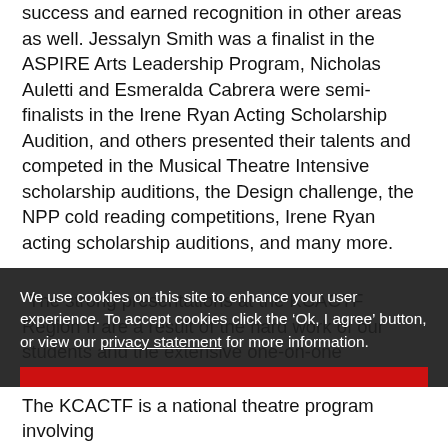success and earned recognition in other areas as well. Jessalyn Smith was a finalist in the ASPIRE Arts Leadership Program, Nicholas Auletti and Esmeralda Cabrera were semi-finalists in the Irene Ryan Acting Scholarship Audition, and others presented their talents and competed in the Musical Theatre Intensive scholarship auditions, the Design challenge, the NPP cold reading competitions, Irene Ryan acting scholarship auditions, and many more.
“The strong presentations at the KCACTF Region II are a result of the hard work of our students and the extensive one-on-one mentoring provided by the faculty in our department,” said Milana Stoytcheva-Horissian, Ph.D., associate professor of theatre, chair of
We use cookies on this site to enhance your user experience. To accept cookies click the 'Ok, I agree' button, or view our privacy statement for more information.
OK, I AGREE
The KCACTF is a national theatre program involving